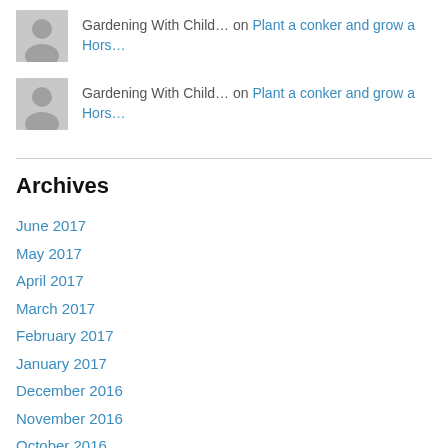Gardening With Child… on Plant a conker and grow a Hors…
Gardening With Child… on Plant a conker and grow a Hors…
Archives
June 2017
May 2017
April 2017
March 2017
February 2017
January 2017
December 2016
November 2016
October 2016
September 2016
August 2016